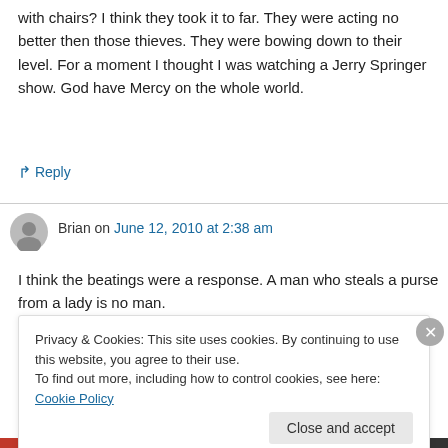with chairs? I think they took it to far. They were acting no better then those thieves. They were bowing down to their level. For a moment I thought I was watching a Jerry Springer show. God have Mercy on the whole world.
↳ Reply
Brian on June 12, 2010 at 2:38 am
I think the beatings were a response. A man who steals a purse from a lady is no man.
Privacy & Cookies: This site uses cookies. By continuing to use this website, you agree to their use.
To find out more, including how to control cookies, see here: Cookie Policy